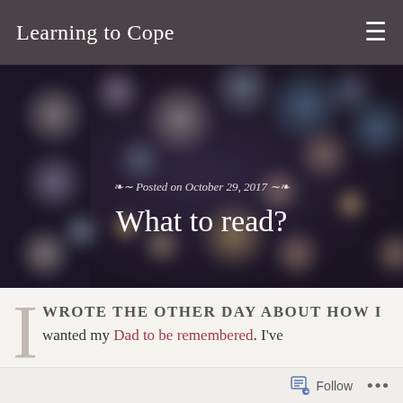Learning to Cope
[Figure (photo): Blurred bokeh background photo with colorful out-of-focus lights in dark tones of blue, orange, and warm white]
Posted on October 29, 2017
What to read?
I WROTE THE OTHER DAY ABOUT HOW I wanted my Dad to be remembered. I've thought about this more than I realised and it started when I decided to do a reading for him at
Follow  ...